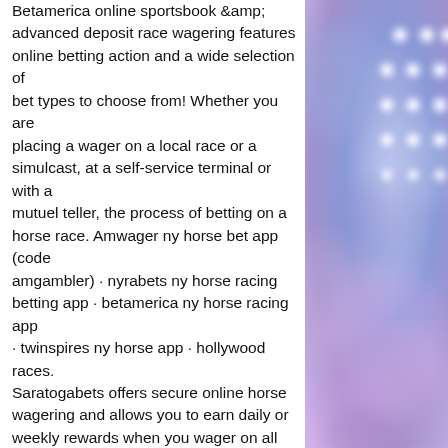Betamerica online sportsbook &amp; advanced deposit race wagering features online betting action and a wide selection of bet types to choose from! Whether you are placing a wager on a local race or a simulcast, at a self-service terminal or with a mutuel teller, the process of betting on a horse race. Amwager ny horse bet app (code amgambler) · nyrabets ny horse racing betting app · betamerica ny horse racing app · twinspires ny horse app · hollywood races. Saratogabets offers secure online horse wagering and allows you to earn daily or weekly rewards when you wager on all your favorite tracks online or by
This will most likely be credited immediately, but there may be a delay. Automatic: As suggested, this way of claiming a bonus works automatically, miami club casino no deposit bonus dec 2022. Also, if needed, you can be in touch with the customer service,
[Figure (photo): Blurred bokeh background with blue and purple tones, circular light orbs arranged in a grid pattern on the right side, with a hand or person dimly visible in the background.]